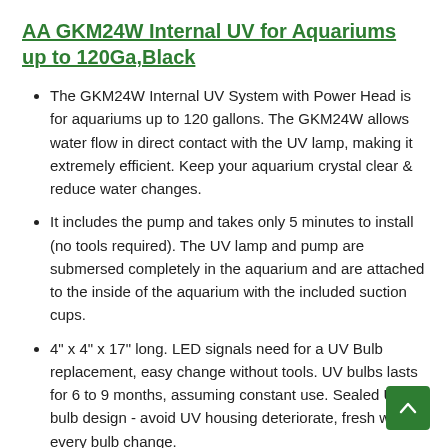AA GKM24W Internal UV for Aquariums up to 120Ga,Black
The GKM24W Internal UV System with Power Head is for aquariums up to 120 gallons. The GKM24W allows water flow in direct contact with the UV lamp, making it extremely efficient. Keep your aquarium crystal clear & reduce water changes.
It includes the pump and takes only 5 minutes to install (no tools required). The UV lamp and pump are submersed completely in the aquarium and are attached to the inside of the aquarium with the included suction cups.
4" x 4" x 17" long. LED signals need for a UV Bulb replacement, easy change without tools. UV bulbs lasts for 6 to 9 months, assuming constant use. Sealed UV bulb design - avoid UV housing deteriorate, fresh with every bulb change.